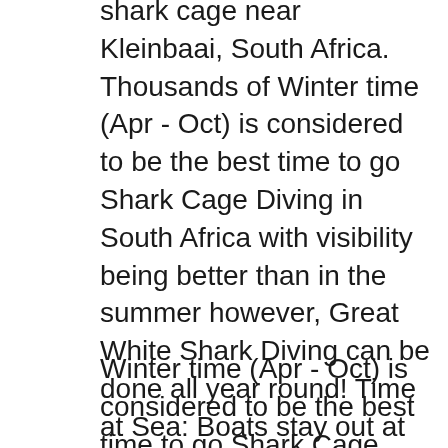shark cage near Kleinbaai, South Africa. Thousands of Winter time (Apr - Oct) is considered to be the best time to go Shark Cage Diving in South Africa with visibility being better than in the summer however, Great White Shark Diving can be done all year round! Time at Sea: Boats stay out at sea for around 2 - 3 hours depending on weather and sea conditions.
Winter time (Apr - Oct) is considered to be the best time to go Shark Cage Diving in South Africa with visibility being better than in the summer however, Great White Shark Diving can be done all year round! Time at Sea: Boats stay out at sea for around 2 - 3